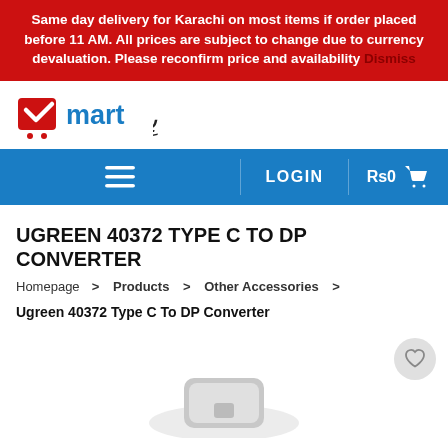Same day delivery for Karachi on most items if order placed before 11 AM. All prices are subject to change due to currency devaluation. Please reconfirm price and availability Dismiss
[Figure (logo): V Mart logo with shopping cart icon and Arabic Bismillah calligraphy]
[Figure (screenshot): Navigation bar with hamburger menu, LOGIN button, and Rs0 cart icon on blue background]
UGREEN 40372 TYPE C TO DP CONVERTER
Homepage > Products > Other Accessories >
Ugreen 40372 Type C To DP Converter
[Figure (photo): Product image area showing partial view of Ugreen Type C to DP converter with wishlist heart button]